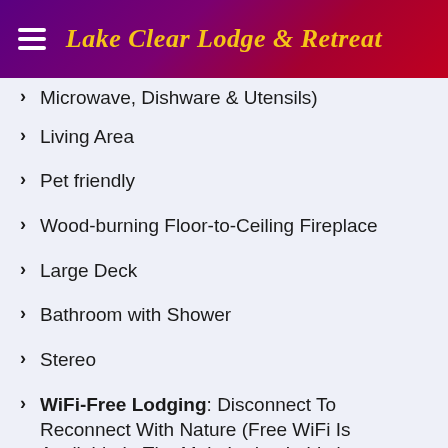Lake Clear Lodge & Retreat
Microwave, Dishware & Utensils)
Living Area
Pet friendly
Wood-burning Floor-to-Ceiling Fireplace
Large Deck
Bathroom with Shower
Stereo
WiFi-Free Lodging: Disconnect To Reconnect With Nature (Free WiFi Is Available In The Main Lodge Lobby)